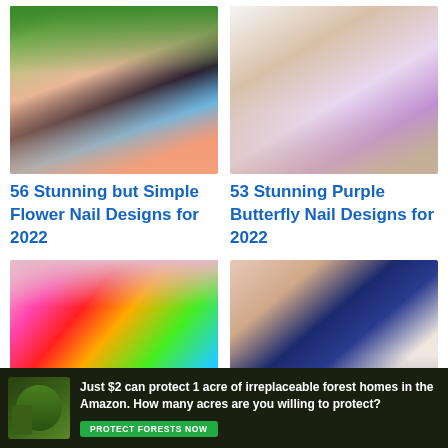[Figure (photo): Hand with blue and floral nail designs on dark background]
56 Stunning but Simple Flower Nail Designs for 2022
[Figure (photo): Hand with purple butterfly nail designs on beige nails]
53 Stunning Purple Butterfly Nail Designs for 2022
[Figure (photo): Hand with neon multicolor nail designs]
[Figure (photo): Hand with dark navy blue nail designs]
[Figure (photo): Advertisement banner: Just $2 can protect 1 acre of irreplaceable forest homes in the Amazon. How many acres are you willing to protect? PROTECT FORESTS NOW]